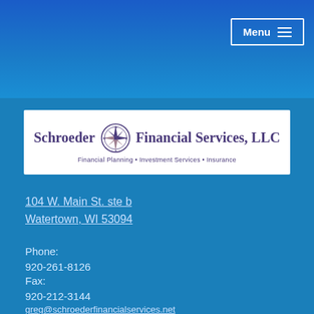Menu ☰
[Figure (logo): Schroeder Financial Services, LLC logo with compass rose icon. Tagline: Financial Planning • Investment Services • Insurance]
104 W. Main St. ste b
Watertown, WI 53094
Phone:
920-261-8126
Fax:
920-212-3144
greg@schroederfinancialservices.net
melody@schroederfinancialservices.net